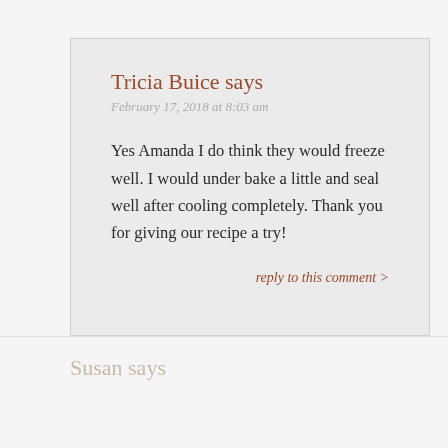Tricia Buice says
February 17, 2018 at 8:03 am
Yes Amanda I do think they would freeze well. I would under bake a little and seal well after cooling completely. Thank you for giving our recipe a try!
reply to this comment >
Susan says